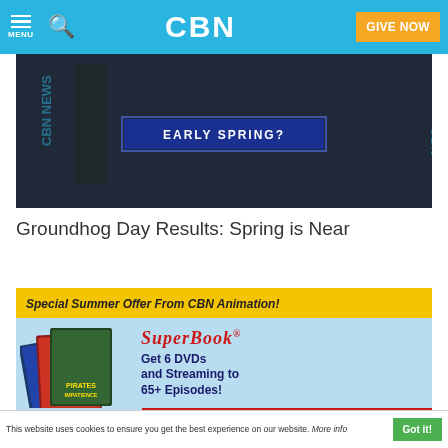CBN — MENU | Search | GIVE NOW
[Figure (screenshot): CBN News video thumbnail showing dark background with 'EARLY SPRING?' text banner in blue/white on screen]
Groundhog Day Results: Spring is Near
[Figure (infographic): CBN Animation Special Summer Offer ad for Superbook: 'Special Summer Offer From CBN Animation!' header in gold, Superbook logo in red italic script, DVDs stacked image, text 'Get 6 DVDs and Streaming to 65+ Episodes!', red CTA button 'Get Your DVDs & Instant Streaming', thumbnail images of Superbook DVD covers at bottom]
This website uses cookies to ensure you get the best experience on our website. More info
Got it!